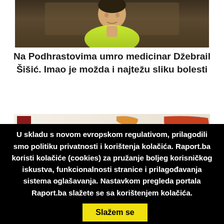[Figure (photo): Photo of a person wearing a bright yellow/green shirt against a dark background]
Na Podhrastovima umro medicinar Džebrail Šišić. Imao je možda i najtežu sliku bolesti
[Figure (map): Color-coded map of Europe and surrounding regions showing a health or risk metric with a red-orange-yellow-green legend on the left side]
U skladu s novom evropskom regulativom, prilagodili smo politiku privatnosti i korištenja kolačića. Raport.ba koristi kolačiće (cookies) za pružanje boljeg korisničkog iskustva, funkcionalnosti stranice i prilagođavanja sistema oglašavanja. Nastavkom pregleda portala Raport.ba slažete se sa korištenjem kolačića.  Slažem se